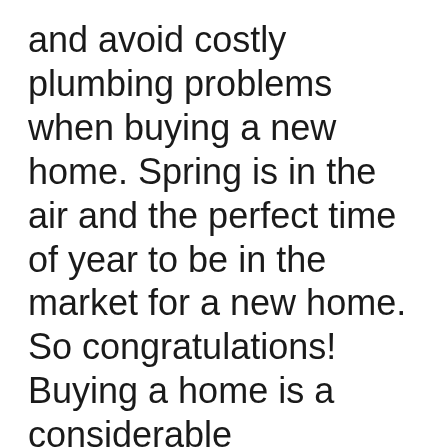and avoid costly plumbing problems when buying a new home. Spring is in the air and the perfect time of year to be in the market for a new home. So congratulations! Buying a home is a considerable accomplishment for first-time buyers or individuals who have been around the block a few times, or maybe it is retirement or investment property. So, before you sign on the